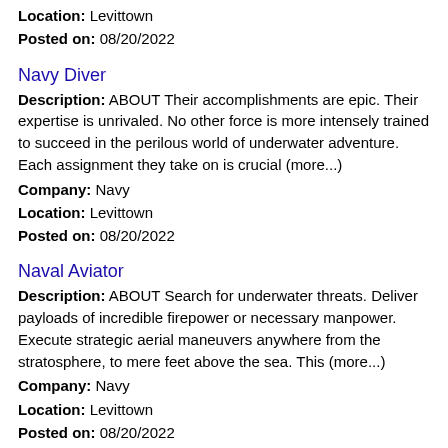Location: Levittown
Posted on: 08/20/2022
Navy Diver
Description: ABOUT Their accomplishments are epic. Their expertise is unrivaled. No other force is more intensely trained to succeed in the perilous world of underwater adventure. Each assignment they take on is crucial (more...)
Company: Navy
Location: Levittown
Posted on: 08/20/2022
Naval Aviator
Description: ABOUT Search for underwater threats. Deliver payloads of incredible firepower or necessary manpower. Execute strategic aerial maneuvers anywhere from the stratosphere, to mere feet above the sea. This (more...)
Company: Navy
Location: Levittown
Posted on: 08/20/2022
Counter Staff Concessions
Description: Jitjatjo pronounced like tic-tac-toe is the best place to find part-time temporary work in your local area. Our mobile app,